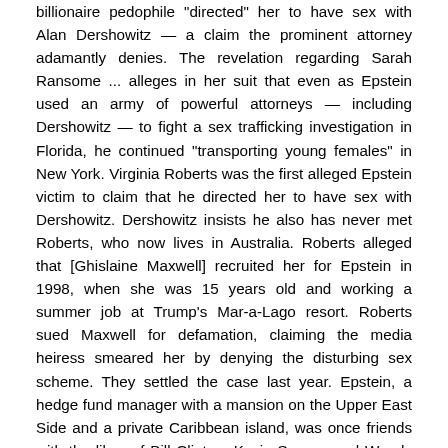billionaire pedophile "directed" her to have sex with Alan Dershowitz — a claim the prominent attorney adamantly denies. The revelation regarding Sarah Ransome ... alleges in her suit that even as Epstein used an army of powerful attorneys — including Dershowitz — to fight a sex trafficking investigation in Florida, he continued "transporting young females" in New York. Virginia Roberts was the first alleged Epstein victim to claim that he directed her to have sex with Dershowitz. Dershowitz insists he also has never met Roberts, who now lives in Australia. Roberts alleged that [Ghislaine Maxwell] recruited her for Epstein in 1998, when she was 15 years old and working a summer job at Trump's Mar-a-Lago resort. Roberts sued Maxwell for defamation, claiming the media heiress smeared her by denying the disturbing sex scheme. They settled the case last year. Epstein, a hedge fund manager with a mansion on the Upper East Side and a private Caribbean island, was once friends with the likes of Bill Clinton, Kevin Spacey and Woody Allen, among other celebs and business titans. "I've known Jeff for 15 years. Terrific guy. He's a lot of fun to be with. It is even said that he likes beautiful women as much as I do, and many of them are on the younger side," Trump said of